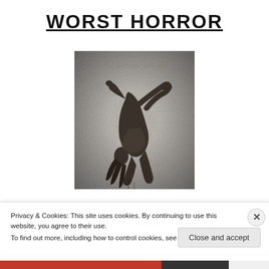WORST HORROR
[Figure (photo): Movie poster for 'The Second Coming' showing a person bent backward in a contorted pose, grayscale/dark toned horror film artwork with text 'THE SECOND COMING' at the top of the poster.]
Privacy & Cookies: This site uses cookies. By continuing to use this website, you agree to their use.
To find out more, including how to control cookies, see here: Cookie Policy
Close and accept